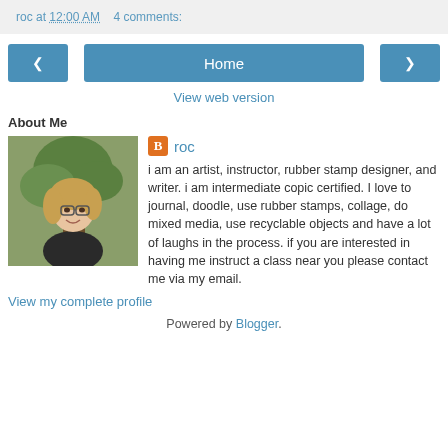roc at 12:00 AM    4 comments:
[Figure (screenshot): Navigation bar with back arrow, Home button, and forward arrow buttons in blue]
View web version
About Me
[Figure (photo): Profile photo of a woman with glasses smiling, standing near a tree]
roc
i am an artist, instructor, rubber stamp designer, and writer. i am intermediate copic certified. I love to journal, doodle, use rubber stamps, collage, do mixed media, use recyclable objects and have a lot of laughs in the process. if you are interested in having me instruct a class near you please contact me via my email.
View my complete profile
Powered by Blogger.